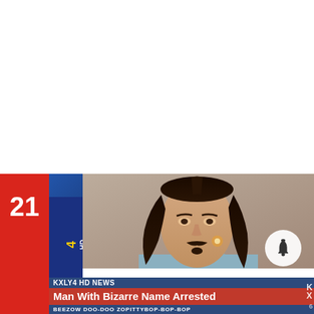[Figure (screenshot): TV news broadcast screenshot from KXLY4 HD showing a man with long dark hair and mustache. Lower third text reads: 'KXLY4 HD NEWS / Man With Bizarre Name Arrested / BEEZOW DOO-DOO ZOPITTYBOP-BOP-BOP'. Number 21 displayed in red sidebar on left.]